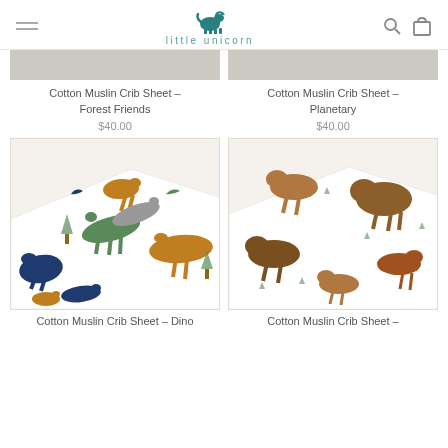little unicorn
[Figure (photo): Cotton Muslin Crib Sheet - Forest Friends product photo, partially cropped at top]
[Figure (photo): Cotton Muslin Crib Sheet - Planetary product photo, partially cropped at top]
Cotton Muslin Crib Sheet - Forest Friends
$40.00
Cotton Muslin Crib Sheet - Planetary
$40.00
[Figure (photo): Cotton Muslin Crib Sheet - Dino product photo showing colorful dinosaur print on white fitted sheet]
[Figure (photo): Cotton Muslin Crib Sheet - buffalo/animals print on white fitted sheet]
Cotton Muslin Crib Sheet - Dino
Cotton Muslin Crib Sheet -